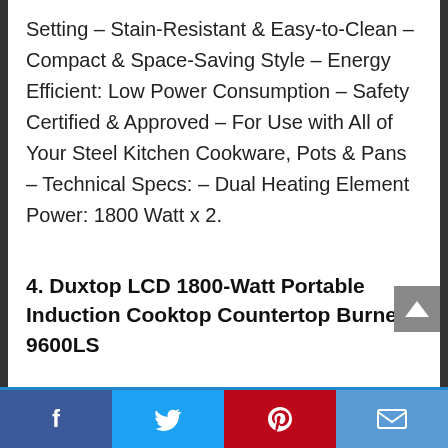Setting – Stain-Resistant & Easy-to-Clean – Compact & Space-Saving Style – Energy Efficient: Low Power Consumption – Safety Certified & Approved – For Use with All of Your Steel Kitchen Cookware, Pots & Pans – Technical Specs: – Dual Heating Element Power: 1800 Watt x 2.
4. Duxtop LCD 1800-Watt Portable Induction Cooktop Countertop Burner 9600LS